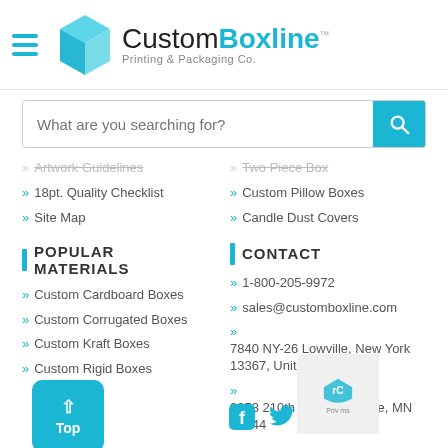[Figure (logo): CustomBoxline logo with cyan box icon and text 'CustomBoxline Printing & Packaging Co.']
What are you searching for?
Artwork Guidelines
18pt. Quality Checklist
Site Map
Two Piece Box
Custom Pillow Boxes
Candle Dust Covers
POPULAR MATERIALS
Custom Cardboard Boxes
Custom Corrugated Boxes
Custom Kraft Boxes
Custom Rigid Boxes
CONTACT
1-800-205-9972
sales@customboxline.com
7840 NY-26 Lowville, New York 13367, United States
9853 210th St. E. Lakeville, MN 55044
[Figure (illustration): Social media icons: Facebook, Twitter, Instagram, LinkedIn]